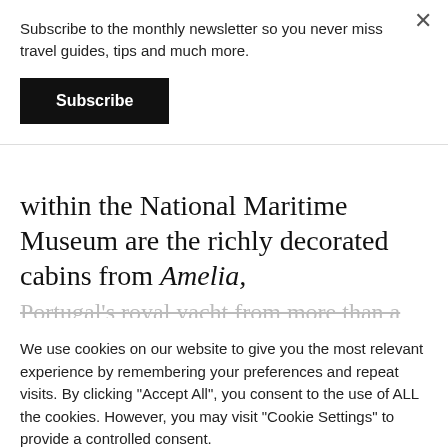Subscribe to the monthly newsletter so you never miss travel guides, tips and much more.
Subscribe
within the National Maritime Museum are the richly decorated cabins from Amelia, Portugal's royal yacht from more than a
We use cookies on our website to give you the most relevant experience by remembering your preferences and repeat visits. By clicking “Accept All”, you consent to the use of ALL the cookies. However, you may visit "Cookie Settings" to provide a controlled consent.
Cookie Settings
Accept All